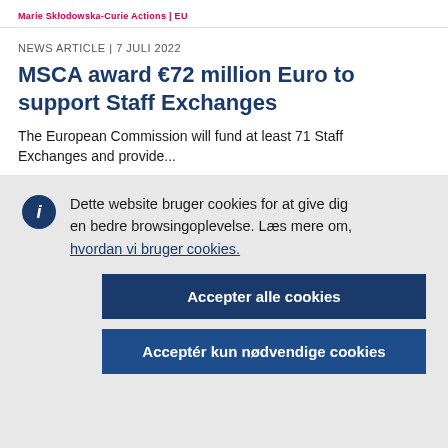Marie Skłodowska-Curie Actions | EU
NEWS ARTICLE | 7 JULI 2022
MSCA award €72 million Euro to support Staff Exchanges
The European Commission will fund at least 71 Staff Exchanges...
Dette website bruger cookies for at give dig en bedre browsingoplevelse. Læs mere om, hvordan vi bruger cookies.
Accepter alle cookies
Acceptér kun nødvendige cookies